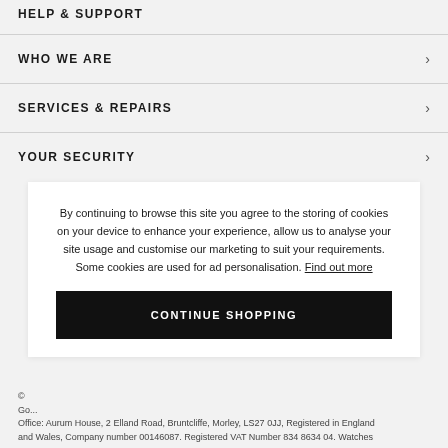HELP & SUPPORT
WHO WE ARE
SERVICES & REPAIRS
YOUR SECURITY
By continuing to browse this site you agree to the storing of cookies on your device to enhance your experience, allow us to analyse your site usage and customise our marketing to suit your requirements. Some cookies are used for ad personalisation. Find out more
CONTINUE SHOPPING
© ... Goldsmiths... Office: Aurum House, 2 Elland Road, Bruntcliffe, Morley, LS27 0JJ, Registered in England and Wales, Company number 00146087. Registered VAT Number 834 8634 04. Watches